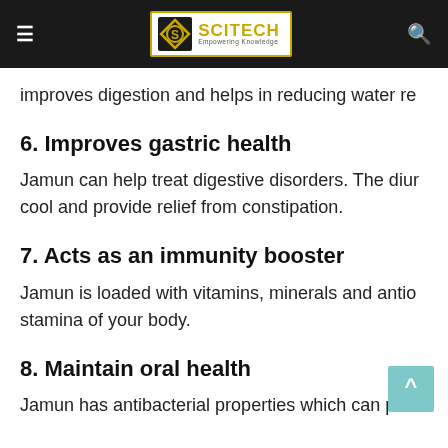≡  SCITECH Empowering Knowledge  🔍
improves digestion and helps in reducing water re
6. Improves gastric health
Jamun can help treat digestive disorders. The diur cool and provide relief from constipation.
7. Acts as an immunity booster
Jamun is loaded with vitamins, minerals and antio stamina of your body.
8. Maintain oral health
Jamun has antibacterial properties which can pro